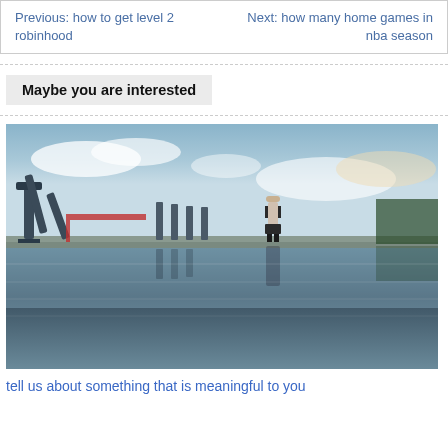Previous: how to get level 2 robinhood | Next: how many home games in nba season
Maybe you are interested
[Figure (photo): Person standing on a pier or boardwalk surrounded by folded chairs, with a water reflection creating a mirror image below. Cloudy sky in background.]
tell us about something that is meaningful to you